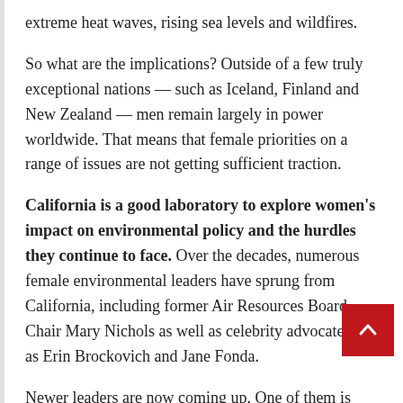extreme heat waves, rising sea levels and wildfires.
So what are the implications? Outside of a few truly exceptional nations — such as Iceland, Finland and New Zealand — men remain largely in power worldwide. That means that female priorities on a range of issues are not getting sufficient traction.
California is a good laboratory to explore women's impact on environmental policy and the hurdles they continue to face. Over the decades, numerous female environmental leaders have sprung from California, including former Air Resources Board Chair Mary Nichols as well as celebrity advocates such as Erin Brockovich and Jane Fonda.
Newer leaders are now coming up. One of them is Jennifer Fearing. Although hardly a household name